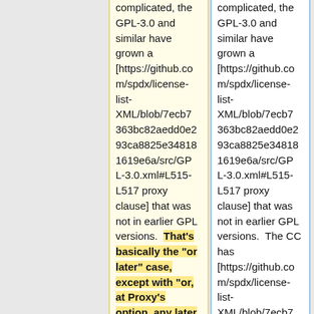complicated, the GPL-3.0 and similar have grown a [https://github.com/spdx/license-list-XML/blob/7ecb7363bc82aedd0e293ca8825e348181619e6a/src/GPL-3.0.xml#L515-L517 proxy clause] that was not in earlier GPL versions.  That's basically the "or later" case, except with "or, at Proxy's option, any later version" instead of their
complicated, the GPL-3.0 and similar have grown a [https://github.com/spdx/license-list-XML/blob/7ecb7363bc82aedd0e293ca8825e348181619e6a/src/GPL-3.0.xml#L515-L517 proxy clause] that was not in earlier GPL versions.  The CC has [https://github.com/spdx/license-list-XML/blob/7ecb7363bc82aedd0e293ca8825e348181619e6a/src/...